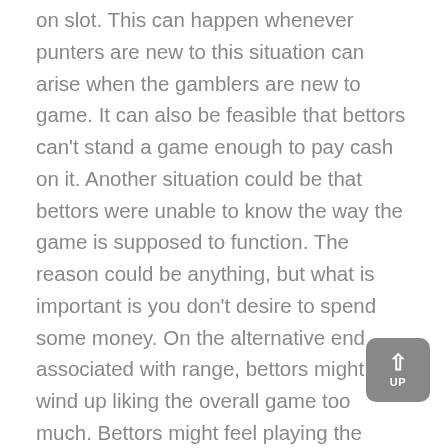on slot. This can happen whenever punters are new to this situation can arise when the gamblers are new to game. It can also be feasible that bettors can't stand a game enough to pay cash on it. Another situation could be that bettors were unable to know the way the game is supposed to function. The reason could be anything, but what is important is you don't desire to spend some money. On the alternative end associated with range, bettors might wind up liking the overall game too much. Bettors might feel playing the overall game all throughout the day. But in the event that you play that much, you'd have to fork out a lot of money. But with Ash Gaming, you get to play slot games at no cost! Yeah, there is nothing incorrect along with your hearing. Bettors wouldn't be required to spend hardly any money so that you can have fun with the game. Thus, Ash Gaming provides you the opportunity to enjoy slot games without having to pay anything. After all, why should you need certainly to spend to savor slot games? The amazing designing and design